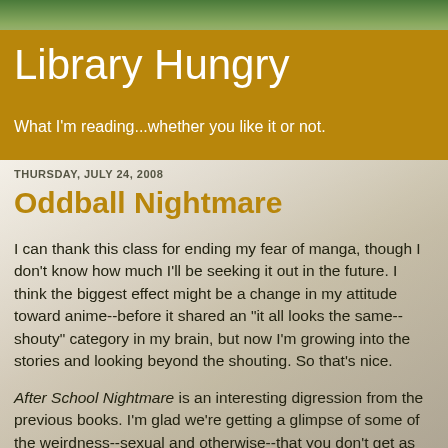Library Hungry
What I'm reading...whether you like it or not.
THURSDAY, JULY 24, 2008
Oddball Nightmare
I can thank this class for ending my fear of manga, though I don't know how much I'll be seeking it out in the future. I think the biggest effect might be a change in my attitude toward anime--before it shared an "it all looks the same--shouty" category in my brain, but now I'm growing into the stories and looking beyond the shouting. So that's nice.
After School Nightmare is an interesting digression from the previous books. I'm glad we're getting a glimpse of some of the weirdness--sexual and otherwise--that you don't get as much in American literature/comics and that are such a big